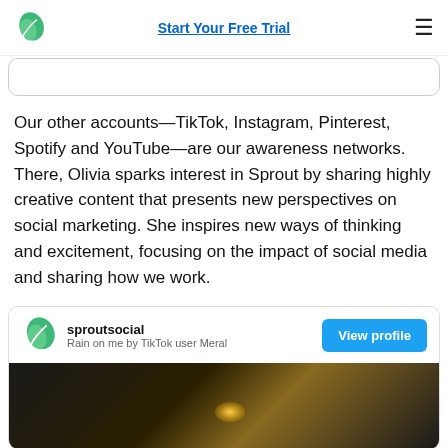Start Your Free Trial
Our other accounts—TikTok, Instagram, Pinterest, Spotify and YouTube—are our awareness networks. There, Olivia sparks interest in Sprout by sharing highly creative content that presents new perspectives on social marketing. She inspires new ways of thinking and excitement, focusing on the impact of social media and sharing how we work.
[Figure (screenshot): A TikTok-style social card for 'sproutsocial' with subtitle 'Rain on me by TikTok user Meral', a 'View profile' button, and a dark video thumbnail showing a person's head and a warm light glow in the background.]